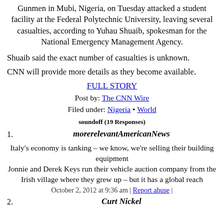Gunmen in Mubi, Nigeria, on Tuesday attacked a student facility at the Federal Polytechnic University, leaving several casualties, according to Yuhau Shuaib, spokesman for the National Emergency Management Agency.
Shuaib said the exact number of casualties is unknown.
CNN will provide more details as they become available.
FULL STORY
Post by: The CNN Wire
Filed under: Nigeria • World
soundoff (19 Responses)
1. morerelevantAmericanNews
Italy's economy is tanking – we know, we're selling their building equipment
Jonnie and Derek Keys run their vehicle auction company from the Irish village where they grew up – but it has a global reach
October 2, 2012 at 9:36 am | Report abuse |
2. Curt Nickel